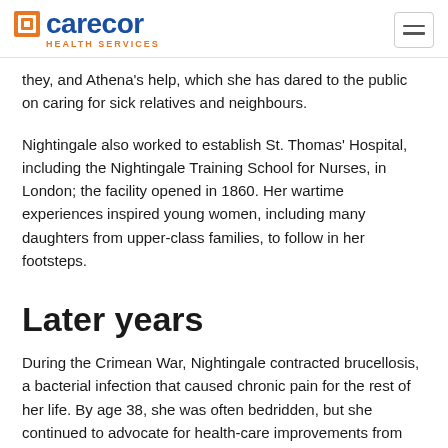carecor HEALTH SERVICES
they, and Athena's help, which she has dared to the public on caring for sick relatives and neighbours.
Nightingale also worked to establish St. Thomas' Hospital, including the Nightingale Training School for Nurses, in London; the facility opened in 1860. Her wartime experiences inspired young women, including many daughters from upper-class families, to follow in her footsteps.
Later years
During the Crimean War, Nightingale contracted brucellosis, a bacterial infection that caused chronic pain for the rest of her life. By age 38, she was often bedridden, but she continued to advocate for health-care improvements from her home. In 1907, King